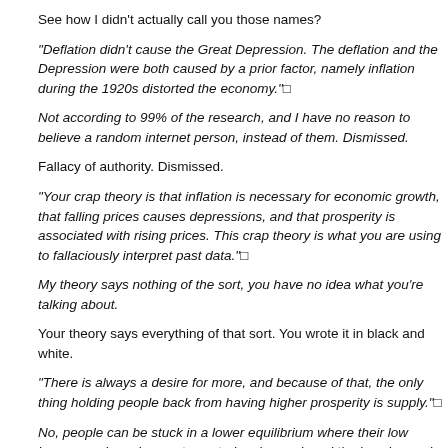See how I didn't actually call you those names?
“Deflation didn't cause the Great Depression. The deflation and the Depression were both caused by a prior factor, namely inflation during the 1920s distorted the economy.”□
Not according to 99% of the research, and I have no reason to believe a random internet person, instead of them. Dismissed.
Fallacy of authority. Dismissed.
“Your crap theory is that inflation is necessary for economic growth, that falling prices causes depressions, and that prosperity is associated with rising prices. This crap theory is what you are using to fallaciously interpret past data.”□
My theory says nothing of the sort, you have no idea what you’re talking about.
Your theory says everything of that sort. You wrote it in black and white.
“There is always a desire for more, and because of that, the only thing holding people back from having higher prosperity is supply.”□
No, people can be stuck in a lower equilibrium where their low income and employment constrains demand, and the low demand constrains employment and production, creating a vicious circle, which for game theoretical reasons (and numerous other reasons to choose from).
You completely ignored the crucial part of my argument, concerning “in the right proportions.”
The economy is experiencing equilibrium and also distributing his economy equilibrium...